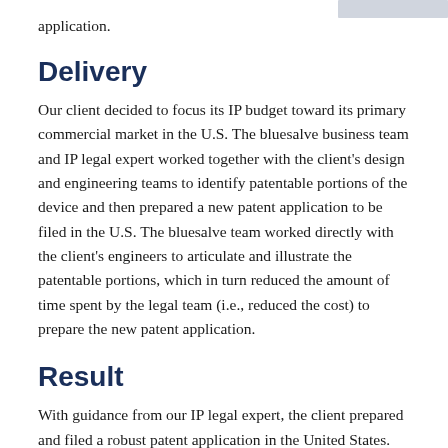application.
Delivery
Our client decided to focus its IP budget toward its primary commercial market in the U.S. The bluesalve business team and IP legal expert worked together with the client's design and engineering teams to identify patentable portions of the device and then prepared a new patent application to be filed in the U.S. The bluesalve team worked directly with the client's engineers to articulate and illustrate the patentable portions, which in turn reduced the amount of time spent by the legal team (i.e., reduced the cost) to prepare the new patent application.
Result
With guidance from our IP legal expert, the client prepared and filed a robust patent application in the United States.